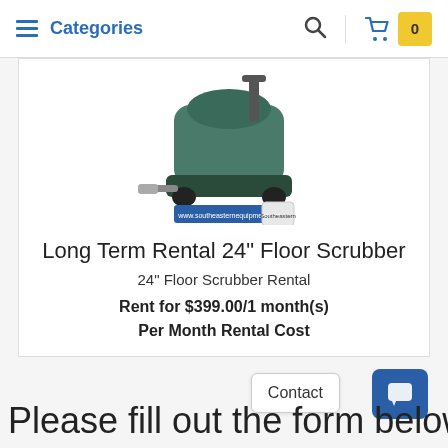Categories  [search icon]  [cart] 0
[Figure (photo): Green 24-inch floor scrubber machine with a banner showing www.southeasternequipment.net]
Long Term Rental 24" Floor Scrubber
24" Floor Scrubber Rental
Rent for $399.00/1 month(s)
Per Month Rental Cost
Please fill out the form below to